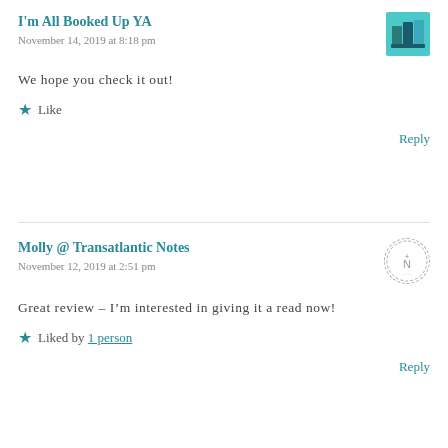I'm All Booked Up YA
November 14, 2019 at 8:18 pm
We hope you check it out!
Like
Reply
Molly @ Transatlantic Notes
November 12, 2019 at 2:51 pm
Great review – I'm interested in giving it a read now!
Liked by 1 person
Reply